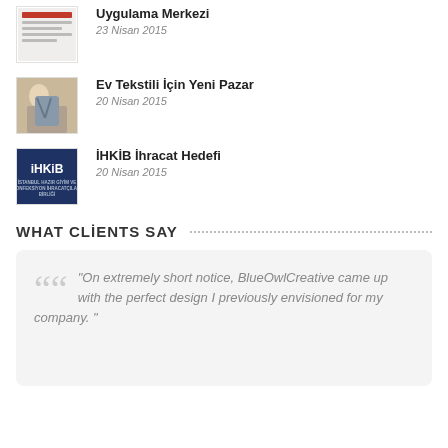[Figure (illustration): Small thumbnail image, top news article about Uygulama Merkezi]
Uygulama Merkezi
23 Nisan 2015
[Figure (photo): Photo of woman with textiles for Ev Tekstili İçin Yeni Pazar article]
Ev Tekstili İçin Yeni Pazar
20 Nisan 2015
[Figure (logo): İHKİB logo — dark blue background with white text]
İHKİB İhracat Hedefi
20 Nisan 2015
WHAT CLİENTS SAY
"On extremely short notice, BlueOwlCreative came up with the perfect design I previously envisioned for my company. "